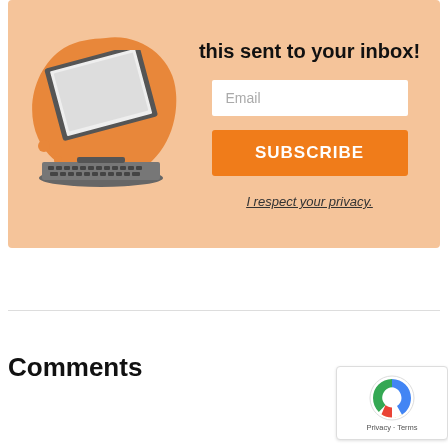[Figure (infographic): Newsletter subscription box with orange/peach background, laptop illustration on left with orange blob shape, and email subscription form on right with 'this sent to your inbox!' heading, Email input field, SUBSCRIBE button, and privacy link.]
this sent to your inbox!
Email
SUBSCRIBE
I respect your privacy.
Comments